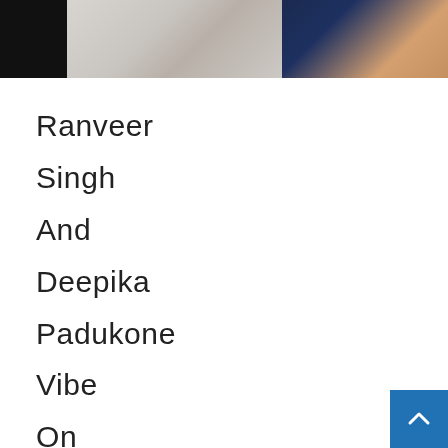[Figure (photo): Cropped photo showing two people: one in a white outfit on the left and one in a navy blue outfit on the right, against a light background.]
Ranveer Singh And Deepika Padukone Vibe On Gehraiyaan's Song Beqaaboo During Their Night Drive